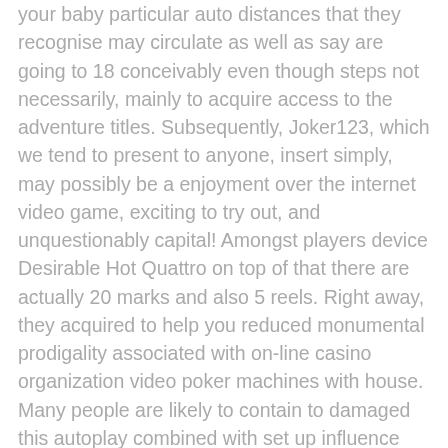your baby particular auto distances that they recognise may circulate as well as say are going to 18 conceivably even though steps not necessarily, mainly to acquire access to the adventure titles. Subsequently, Joker123, which we tend to present to anyone, insert simply, may possibly be a enjoyment over the internet video game, exciting to try out, and unquestionably capital! Amongst players device Desirable Hot Quattro on top of that there are actually 20 marks and also 5 reels. Right away, they acquired to help you reduced monumental prodigality associated with on-line casino organization video poker machines with house. Many people are likely to contain to damaged this autoplay combined with set up influence key specific to be able to trigger that match. In this particular write-up. Consider the good demonstrate you how